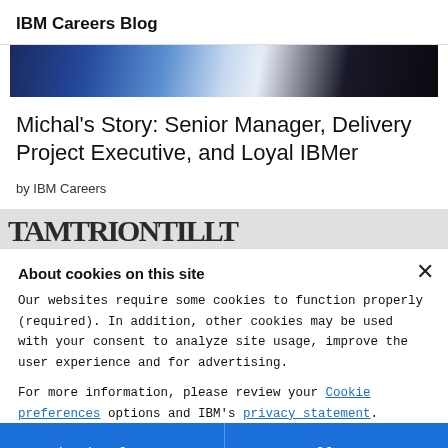IBM Careers Blog
[Figure (photo): Partial header image with blue and dark tones, appearing to be a decorative banner photo.]
Michal's Story: Senior Manager, Delivery Project Executive, and Loyal IBMer
by IBM Careers
[Figure (photo): Partial image strip showing black and white striped or typographic pattern.]
About cookies on this site
Our websites require some cookies to function properly (required). In addition, other cookies may be used with your consent to analyze site usage, improve the user experience and for advertising.
For more information, please review your Cookie preferences options and IBM's privacy statement.
Required only
Accept all